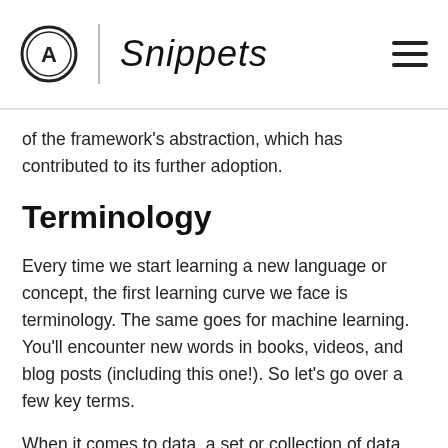AvenueCode Snippets
of the framework's abstraction, which has contributed to its further adoption.
Terminology
Every time we start learning a new language or concept, the first learning curve we face is terminology. The same goes for machine learning. You'll encounter new words in books, videos, and blog posts (including this one!). So let's go over a few key terms.
When it comes to data, a set or collection of data will be called a dataset, which can exist in many forms of media, such as csv or json files, images (.jpg,. .png), database tables schema and text, and so on. Each attribute or characteristic represented as a column in a csv file or database table is called a feature. Examples of feat...